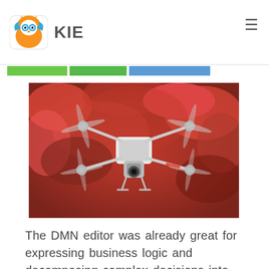KIE
[Figure (photo): A white consumer drone (quadcopter) with camera gimbal flying in front of a blurred red autumn foliage background.]
The DMN editor was already great for expressing business logic and decomposing complex decisions into multiple nodes. However, in some advanced use cases, your graph may get complicated, and your model might look